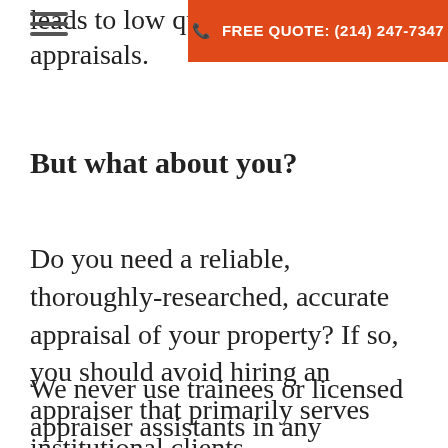FREE QUOTE: (214) 247-7347
leads to low quali appraisals.
But what about you?
Do you need a reliable, thoroughly-researched, accurate appraisal of your property? If so, you should avoid hiring an appraiser that primarily serves institutional clients.
We never use trainees or licensed appraiser assistants in any capacity. All our appraisers are TX State Certified and